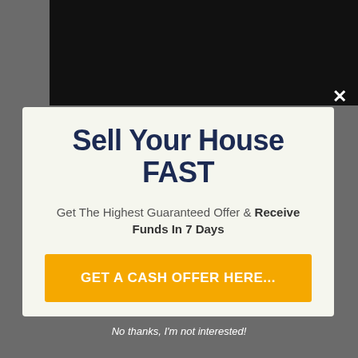[Figure (screenshot): Dark background webpage with a modal popup overlay showing a real estate lead generation advertisement]
Sell Your House FAST
Get The Highest Guaranteed Offer & Receive Funds In 7 Days
GET A CASH OFFER HERE...
financing or have sourced a customer. These types of firms can not assure a sale on a conclusion day.
No thanks, I'm not interested!